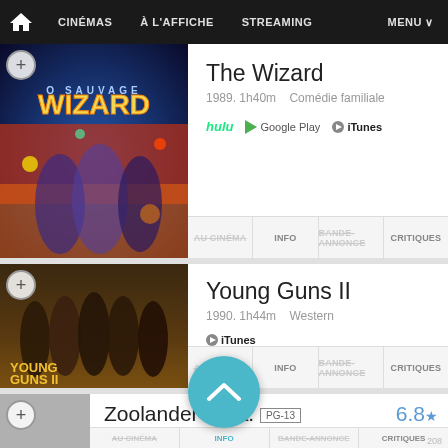CINÉMAS  À L'AFFICHE  STREAMING  MENU
[Figure (screenshot): Movie poster for The Wizard (1989) colorful action-adventure art]
The Wizard
1989. 1h40m   Comédie familiale
hulu  Google Play  iTunes
AU CINÉMA | INFO | BANDE-ANNONCE | CRITIQUES
[Figure (screenshot): Movie poster for Young Guns II (1990) western group photo]
Young Guns II
1990. 1h44m   Western
iTunes
AU CINÉMA | INFO | BANDE-ANNONCE | CRITIQUES
[Figure (screenshot): Movie poster placeholder for Zoolander]
Zoolander v.o.a.  PG-13
6.8 ★
2001. 1h29m   Comédie
Google Play  YouTube  iTunes
AU CINÉMA | INFO | BANDE-ANNONCE | CRITIQUES
208